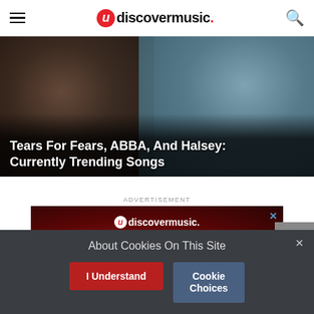udiscovermusic.
[Figure (photo): Hero image showing two people (band members), with text overlay: Tears For Fears, ABBA, And Halsey: Currently Trending Songs]
Tears For Fears, ABBA, And Halsey: Currently Trending Songs
ADVERTISEMENT
[Figure (screenshot): udiscovermusic advertisement banner on red/dark background showing '20% OFF' promotional offer]
About Cookies On This Site
I Understand
Cookie Choices